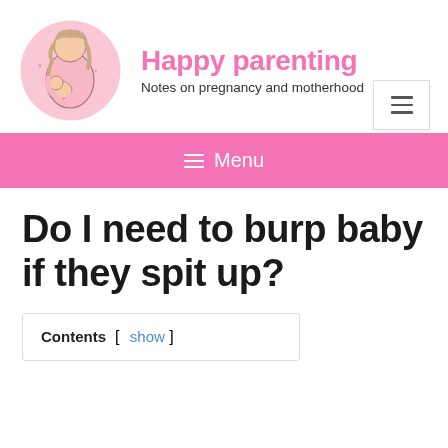[Figure (logo): Circular logo with illustration of a mother holding a baby, in pink tones]
Happy parenting
Notes on pregnancy and motherhood
[Figure (illustration): Hamburger menu button (three horizontal lines) in a white box with border]
≡ Menu
Do I need to burp baby if they spit up?
Contents [ show ]